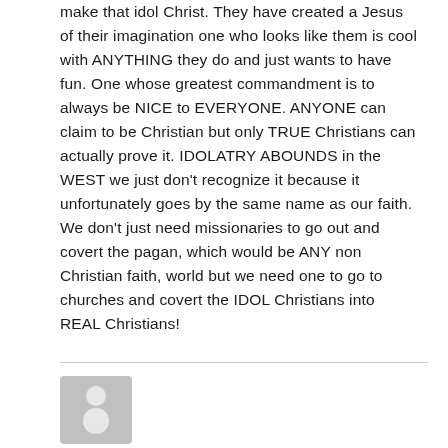make that idol Christ. They have created a Jesus of their imagination one who looks like them is cool with ANYTHING they do and just wants to have fun. One whose greatest commandment is to always be NICE to EVERYONE. ANYONE can claim to be Christian but only TRUE Christians can actually prove it. IDOLATRY ABOUNDS in the WEST we just don't recognize it because it unfortunately goes by the same name as our faith. We don't just need missionaries to go out and covert the pagan, which would be ANY non Christian faith, world but we need one to go to churches and covert the IDOL Christians into REAL Christians!
[Figure (illustration): Generic user avatar placeholder image — grey square with white circle and head silhouette]